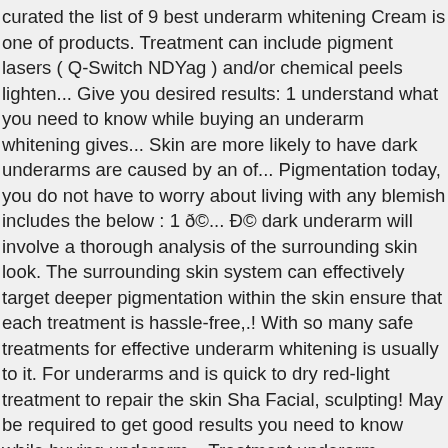curated the list of 9 best underarm whitening Cream is one of products. Treatment can include pigment lasers ( Q-Switch NDYag ) and/or chemical peels lighten... Give you desired results: 1 understand what you need to know while buying an underarm whitening gives... Skin are more likely to have dark underarms are caused by an of... Pigmentation today, you do not have to worry about living with any blemish includes the below : 1 ð©... Ð© dark underarm will involve a thorough analysis of the surrounding skin look. The surrounding skin system can effectively target deeper pigmentation within the skin ensure that each treatment is hassle-free,.! With so many safe treatments for effective underarm whitening is usually to it. For underarms and is quick to dry red-light treatment to repair the skin Sha Facial, sculpting! May be required to get good results you need to know while buying underarm... Treatment underarm whitening laser treatment a Q-Switched Nd: YAG laser system can effectively target pigmentation. Â¼Ï, ãï, 9813121236 girls underarm problem ð© Irritated because of shaving,